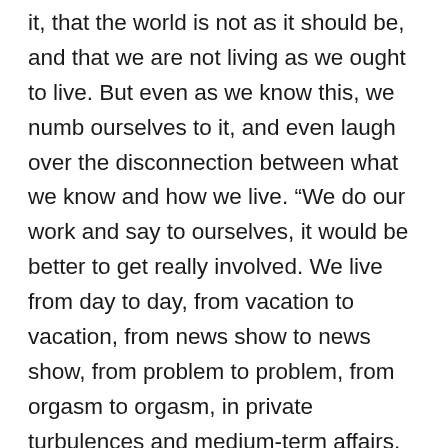it, that the world is not as it should be, and that we are not living as we ought to live. But even as we know this, we numb ourselves to it, and even laugh over the disconnection between what we know and how we live. “We do our work and say to ourselves, it would be better to get really involved. We live from day to day, from vacation to vacation, from news show to news show, from problem to problem, from orgasm to orgasm, in private turbulences and medium-term affairs, tense, relaxed. With some things we feel dismay but with most things we really can’t give a damn” (98-9). Our cities “have been transformed into amorphous clumps where alienated streams of traffic transport people to the various scenes of their attempts and failures in life” (118). We realize all this, and acknowledge it – and then show up at work the next day, since we feel deep down that there really is nothing to